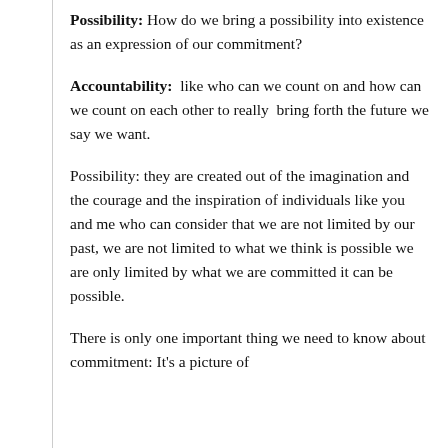Possibility: How do we bring a possibility into existence as an expression of our commitment?
Accountability: like who can we count on and how can we count on each other to really bring forth the future we say we want.
Possibility: they are created out of the imagination and the courage and the inspiration of individuals like you and me who can consider that we are not limited by our past, we are not limited to what we think is possible we are only limited by what we are committed it can be possible.
There is only one important thing we need to know about commitment: It's a picture of